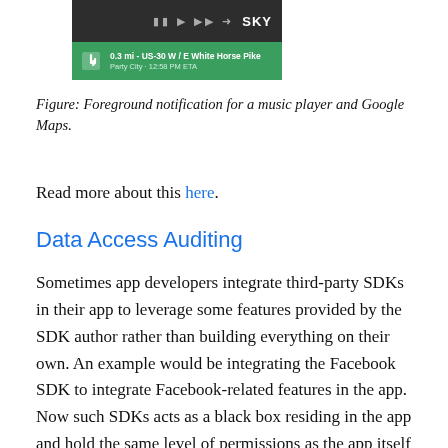[Figure (screenshot): Screenshot showing foreground notifications: a music player notification (dark background with SKY text and media controls) and a Google Maps navigation notification (green background with turn arrow, showing '0.3 mi - US-30 W / E White Horse Pike', 'Party City - 12:58 PM ETA')]
Figure: Foreground notification for a music player and Google Maps.
Read more about this here.
Data Access Auditing
Sometimes app developers integrate third-party SDKs in their app to leverage some features provided by the SDK author rather than building everything on their own. An example would be integrating the Facebook SDK to integrate Facebook-related features in the app. Now such SDKs acts as a black box residing in the app and hold the same level of permissions as the app itself - which could be misused by SDK authors.